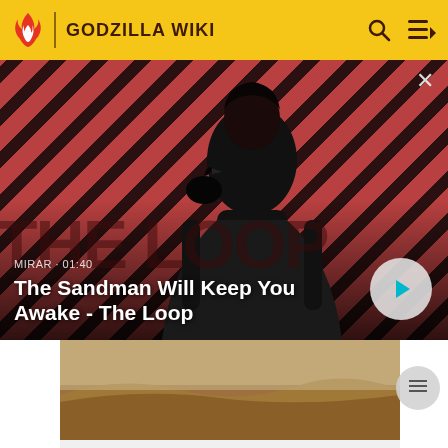GODZILLA WIKI
[Figure (screenshot): Video thumbnail for 'The Sandman Will Keep You Awake - The Loop' with a dark-clad figure against diagonal red and black striped background with a crow on shoulder. Shows MIRAR · 01:40 label and play button.]
[Figure (photo): Partial thumbnail image showing sandy/rocky terrain in warm brown tones.]
Titanosaurus™